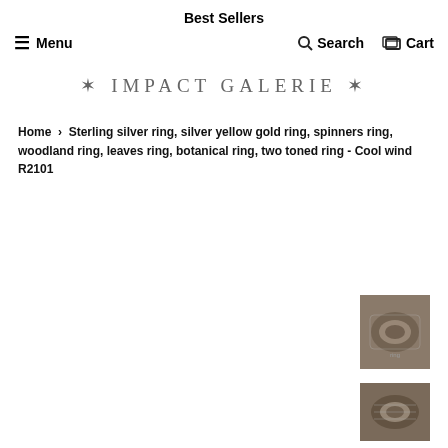Best Sellers
Menu   Search   Cart
[Figure (logo): Impact Galerie decorative logo with floral/asterisk ornaments on each side, text reads: * IMPACT GALERIE *]
Home › Sterling silver ring, silver yellow gold ring, spinners ring, woodland ring, leaves ring, botanical ring, two toned ring - Cool wind R2101
[Figure (photo): Close-up photo of a textured silver ring with leaf/botanical design on dark natural background]
[Figure (photo): Close-up photo of a silver band ring with rope/wire detail on dark background]